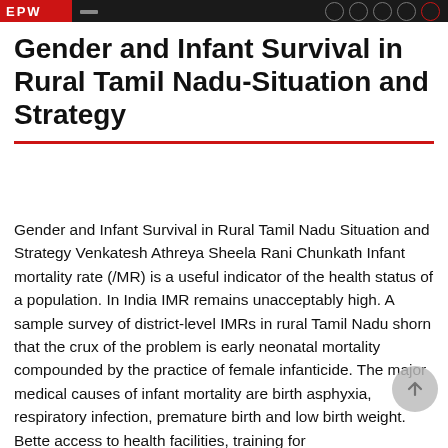EPW
Gender and Infant Survival in Rural Tamil Nadu-Situation and Strategy
Gender and Infant Survival in Rural Tamil Nadu Situation and Strategy Venkatesh Athreya Sheela Rani Chunkath Infant mortality rate (/MR) is a useful indicator of the health status of a population. In India IMR remains unacceptably high. A sample survey of district-level IMRs in rural Tamil Nadu shorn that the crux of the problem is early neonatal mortality compounded by the practice of female infanticide. The major medical causes of infant mortality are birth asphyxia, respiratory infection, premature birth and low birth weight. Better access to health facilities, training for